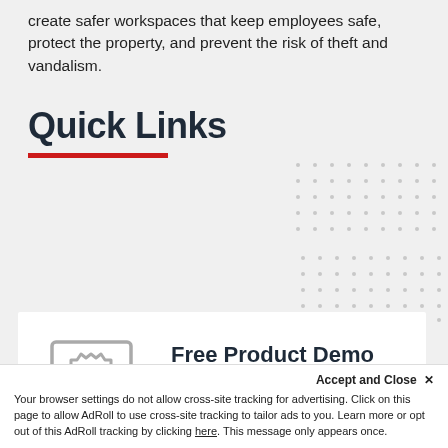create safer workspaces that keep employees safe, protect the property, and prevent the risk of theft and vandalism.
Quick Links
[Figure (illustration): Decorative dot grid pattern in light gray]
[Figure (illustration): Laptop with gear and lightning bolt icon, representing Free Product Demo]
Free Product Demo
Explore key features and capabilities, and experience user interfaces.
Accept and Close ✕
Your browser settings do not allow cross-site tracking for advertising. Click on this page to allow AdRoll to use cross-site tracking to tailor ads to you. Learn more or opt out of this AdRoll tracking by clicking here. This message only appears once.